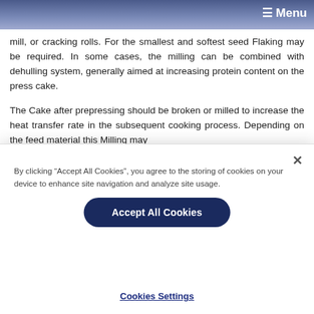☰ Menu
mill, or cracking rolls. For the smallest and softest seed Flaking may be required. In some cases, the milling can be combined with dehulling system, generally aimed at increasing protein content on the press cake.
The Cake after prepressing should be broken or milled to increase the heat transfer rate in the subsequent cooking process. Depending on the feed material this Milling may
By clicking “Accept All Cookies”, you agree to the storing of cookies on your device to enhance site navigation and analyze site usage.
Accept All Cookies
Cookies Settings